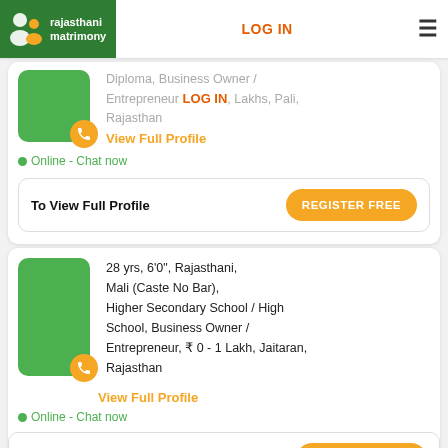rajasthani matrimony | LOG IN
Diploma, Business Owner / Entrepreneur, Lakhs, Pali, Rajasthan
View Full Profile
Online - Chat now
To View Full Profile  REGISTER FREE
28 yrs, 6'0", Rajasthani, Mali (Caste No Bar), Higher Secondary School / High School, Business Owner / Entrepreneur, ₹ 0 - 1 Lakh, Jaitaran, Rajasthan
View Full Profile
Online - Chat now
To View Full Profile  REGISTER FREE